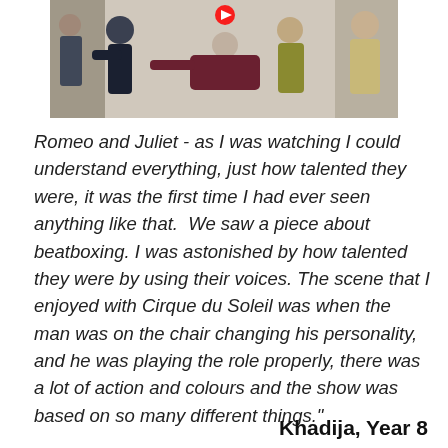[Figure (photo): A group of people in a dramatic scene — several individuals appear to be in a theatrical performance or stage production, with one person being supported or caught by others. The setting appears to be a rehearsal or performance space.]
Romeo and Juliet - as I was watching I could understand everything, just how talented they were, it was the first time I had ever seen anything like that.  We saw a piece about beatboxing. I was astonished by how talented they were by using their voices. The scene that I enjoyed with Cirque du Soleil was when the man was on the chair changing his personality, and he was playing the role properly, there was a lot of action and colours and the show was based on so many different things."
Khadija, Year 8